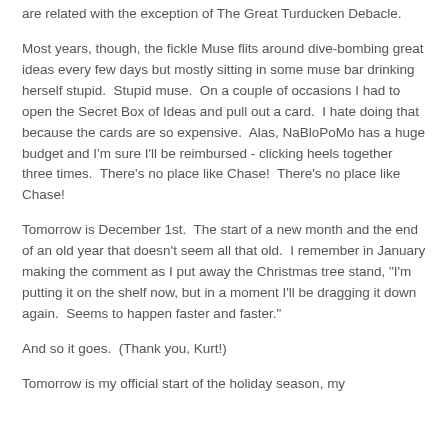are related with the exception of The Great Turducken Debacle.
Most years, though, the fickle Muse flits around dive-bombing great ideas every few days but mostly sitting in some muse bar drinking herself stupid.  Stupid muse.  On a couple of occasions I had to open the Secret Box of Ideas and pull out a card.  I hate doing that because the cards are so expensive.  Alas, NaBloPoMo has a huge budget and I'm sure I'll be reimbursed - clicking heels together three times.  There's no place like Chase!  There's no place like Chase!
Tomorrow is December 1st.  The start of a new month and the end of an old year that doesn't seem all that old.  I remember in January making the comment as I put away the Christmas tree stand, "I'm putting it on the shelf now, but in a moment I'll be dragging it down again.  Seems to happen faster and faster."
And so it goes.  (Thank you, Kurt!)
Tomorrow is my official start of the holiday season, my